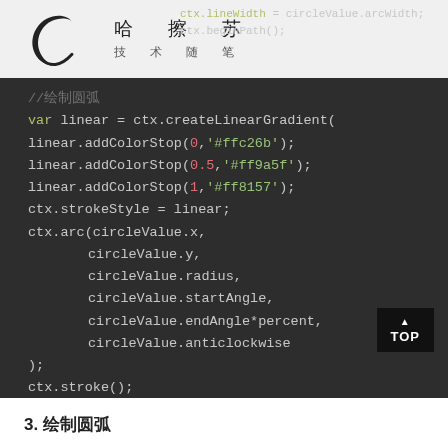[Figure (logo): Crescent moon logo with Chinese text: 哈 擦 苏 / 技 术 随 笔]
ctx.lineWidth = circleValue.arcWidth;
ctx.beginPath();
[Figure (screenshot): Dark code editor screenshot showing JavaScript code with createLinearGradient, addColorStop calls, strokeStyle, arc call with circleValue parameters, and ctx.stroke()]
3. 绘制圆弧